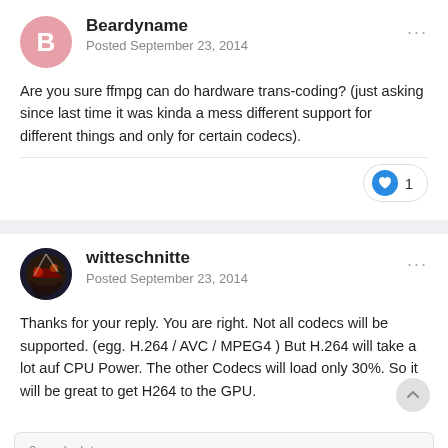Beardyname
Posted September 23, 2014
Are you sure ffmpg can do hardware trans-coding? (just asking since last time it was kinda a mess different support for different things and only for certain codecs).
1
witteschnitte
Posted September 23, 2014
Thanks for your reply. You are right. Not all codecs will be supported. (egg. H.264 / AVC / MPEG4 ) But H.264 will take a lot auf CPU Power. The other Codecs will load only 30%. So it will be great to get H264 to the GPU.
2 weeks later...